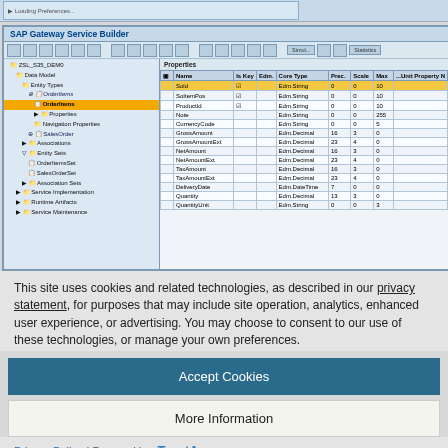[Figure (screenshot): Top partial screenshot strip showing a blue-tinted UI element]
[Figure (screenshot): SAP Gateway Service Builder screenshot showing a tree navigation panel on the left with ZSL_S35_DEM0 data model, Entity Types, OrderItems highlighted in orange, and a properties panel on the right listing fields: Sold, SoSamPos, ProductId, Note, CurrencyCode, GrossAmount, GrossAmountExt, NetAmount, NetAmountExt, TaxAmount, TaxAmountExt, DeliveryDate, Quantity, QuantityUnit with their Edm types and Prec/Scale/Max values]
This site uses cookies and related technologies, as described in our privacy statement, for purposes that may include site operation, analytics, enhanced user experience, or advertising. You may choose to consent to our use of these technologies, or manage your own preferences.
Accept Cookies
More Information
Privacy Policy | Powered by: TrustArc
[Figure (screenshot): Bottom partial screenshot strip showing Associations tree node]